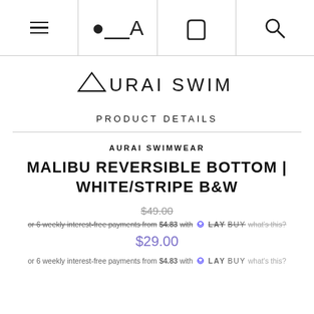Navigation bar with menu, account, cart, search icons
[Figure (logo): AURAI SWIM logo with triangle symbol]
PRODUCT DETAILS
AURAI SWIMWEAR
MALIBU REVERSIBLE BOTTOM | WHITE/STRIPE B&W
$49.00 (strikethrough original price)
or 6 weekly interest-free payments from $4.83 with Laybuy what's this? (strikethrough)
$29.00
or 6 weekly interest-free payments from $4.83 with Laybuy what's this?